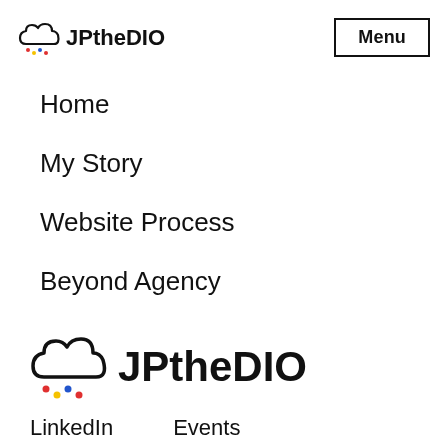[Figure (logo): JPtheDIO logo with cloud icon and colorful rain dots, small size in header]
Menu
Home
My Story
Website Process
Beyond Agency
[Figure (logo): JPtheDIO logo large with cloud icon and colorful rain dots]
LinkedIn    Events